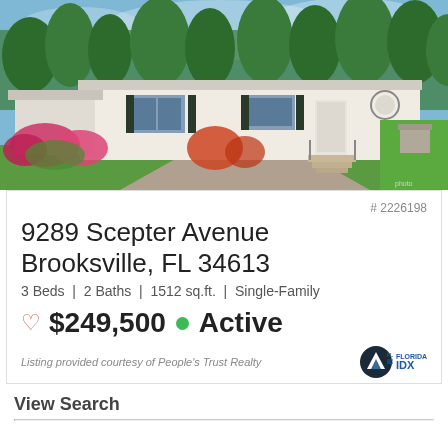[Figure (photo): Exterior photo of a single-family home at 9289 Scepter Avenue, Brooksville FL. White mobile/manufactured home with carport on left, flowers in front yard, blue sky with trees in background.]
# 2226198
9289 Scepter Avenue Brooksville, FL 34613
3 Beds | 2 Baths | 1512 sq.ft. | Single-Family
$249,500 Active
Listing provided courtesy of People's Trust Realty
View Search